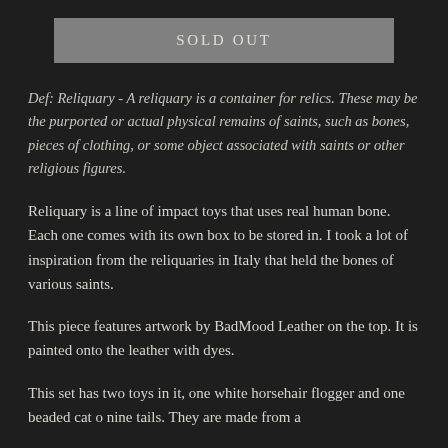SOLD OUT
Def: Reliquary - A reliquary is a container for relics. These may be the purported or actual physical remains of saints, such as bones, pieces of clothing, or some object associated with saints or other religious figures.
Reliquary is a line of impact toys that uses real human bone. Each one comes with its own box to be stored in. I took a lot of inspiration from the reliquaries in Italy that held the bones of various saints.
This piece features artwork by BadMood Leather on the top. It is painted onto the leather with dyes.
This set has two toys in it, one white horsehair flogger and one beaded cat o nine tails. They are made from a